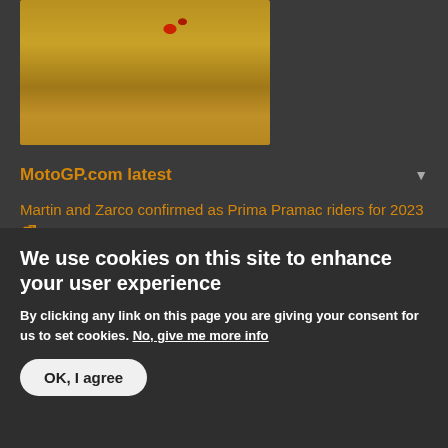[Figure (photo): Close-up photo of sand/gravel texture with a red chili pepper visible, shown in a dark-framed box]
MotoGP.com latest
Martin and Zarco confirmed as Prima Pramac riders for 2023
Social media reacts to Ducati's 2023 factory seat news!
10 things you probably didn't know about Enea Bastianini
Ducati confirm Bastianini as Bagnaia's teammate for 2023
More
We use cookies on this site to enhance your user experience
By clicking any link on this page you are giving your consent for us to set cookies. No, give me more info
OK, I agree